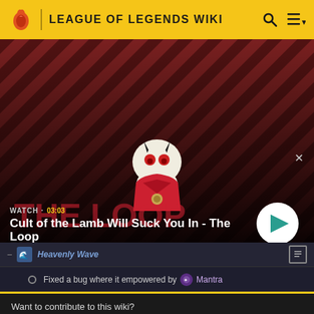LEAGUE OF LEGENDS WIKI
[Figure (screenshot): Video thumbnail showing Cult of the Lamb character on a red diagonal striped background with play button overlay. Label reads WATCH · 03:03. Title: Cult of the Lamb Will Suck You In - The Loop]
Heavenly Wave
Fixed a bug where it empowered by Mantra
Want to contribute to this wiki?
Sign up for an account, and get started!
You can even turn off ads in your preferences.